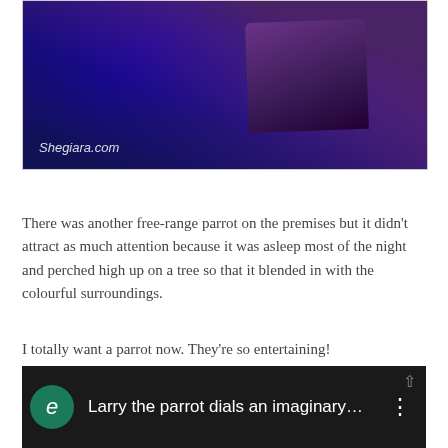[Figure (photo): Photo with blue/purple toned background and watermark text 'Shegiara.com' in bottom left corner]
There was another free-range parrot on the premises but it didn't attract as much attention because it was asleep most of the night and perched high up on a tree so that it blended in with the colourful surroundings.
I totally want a parrot now. They're so entertaining!
Here's a video of a parrot mimicking phone calls. It's the same breed as the one I saw in Mallorca, an African Grey!
[Figure (screenshot): YouTube video thumbnail showing 'Larry the parrot dials an imaginary...' with dark background, green circle icon with 'e', and three-dot menu icon]